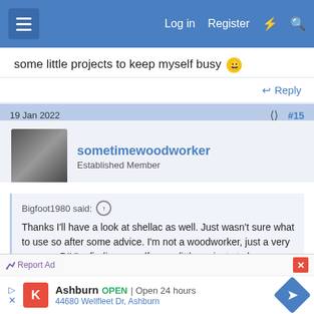Log in  Register
some little projects to keep myself busy 😀
Reply
19 Jan 2022  #15
sometimewoodworker
Established Member
Bigfoot1980 said:
Thanks I'll have a look at shellac as well. Just wasn't sure what to use so after some advice. I'm not a woodworker, just a very average DIY'er finding myself some little projects to keep myself busy 😀
Report Ad
Ashburn OPEN | Open 24 hours
44680 Wellfleet Dr, Ashburn